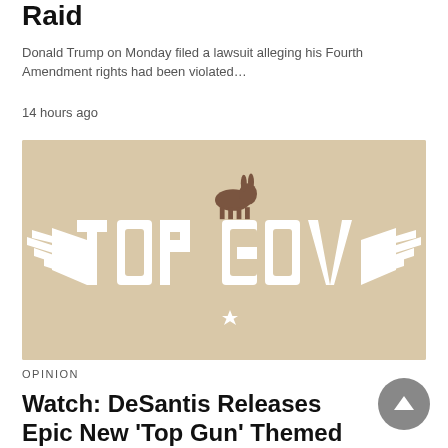Raid
Donald Trump on Monday filed a lawsuit alleging his Fourth Amendment rights had been violated…
14 hours ago
[Figure (illustration): A parody 'TOP GUN' movie logo styled image with the text 'TOP GOV' in white bold letters with wings on each side and a star beneath, set against a beige/tan background. A small donkey figure appears above the letters.]
OPINION
Watch: DeSantis Releases Epic New 'Top Gun' Themed Campaign Ad You Don't Want